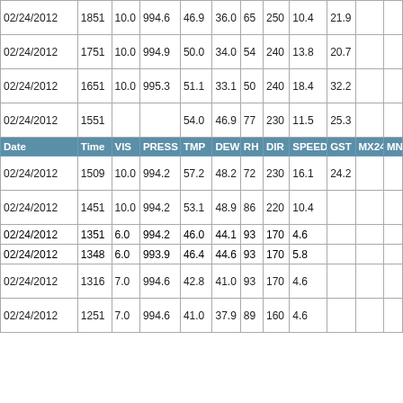| Date | Time | VIS | PRESS | TMP | DEW | RH | DIR | SPEED | GST | MX24 | MN |
| --- | --- | --- | --- | --- | --- | --- | --- | --- | --- | --- | --- |
| 02/24/2012 | 1851 | 10.0 | 994.6 | 46.9 | 36.0 | 65 | 250 | 10.4 | 21.9 |  |  |
| 02/24/2012 | 1751 | 10.0 | 994.9 | 50.0 | 34.0 | 54 | 240 | 13.8 | 20.7 |  |  |
| 02/24/2012 | 1651 | 10.0 | 995.3 | 51.1 | 33.1 | 50 | 240 | 18.4 | 32.2 |  |  |
| 02/24/2012 | 1551 |  |  | 54.0 | 46.9 | 77 | 230 | 11.5 | 25.3 |  |  |
| 02/24/2012 | 1509 | 10.0 | 994.2 | 57.2 | 48.2 | 72 | 230 | 16.1 | 24.2 |  |  |
| 02/24/2012 | 1451 | 10.0 | 994.2 | 53.1 | 48.9 | 86 | 220 | 10.4 |  |  |  |
| 02/24/2012 | 1351 | 6.0 | 994.2 | 46.0 | 44.1 | 93 | 170 | 4.6 |  |  |  |
| 02/24/2012 | 1348 | 6.0 | 993.9 | 46.4 | 44.6 | 93 | 170 | 5.8 |  |  |  |
| 02/24/2012 | 1316 | 7.0 | 994.6 | 42.8 | 41.0 | 93 | 170 | 4.6 |  |  |  |
| 02/24/2012 | 1251 | 7.0 | 994.6 | 41.0 | 37.9 | 89 | 160 | 4.6 |  |  |  |